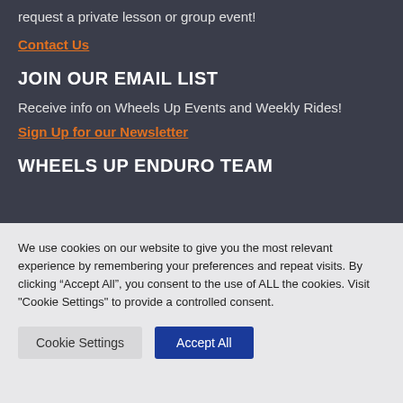request a private lesson or group event!
Contact Us
JOIN OUR EMAIL LIST
Receive info on Wheels Up Events and Weekly Rides!
Sign Up for our Newsletter
WHEELS UP ENDURO TEAM
We use cookies on our website to give you the most relevant experience by remembering your preferences and repeat visits. By clicking “Accept All”, you consent to the use of ALL the cookies. Visit "Cookie Settings" to provide a controlled consent.
Cookie Settings
Accept All